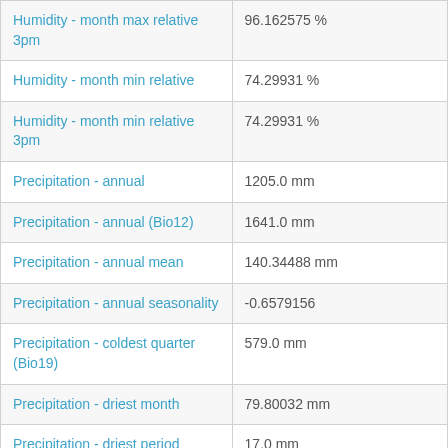| Parameter | Value |
| --- | --- |
| Humidity - month max relative 3pm | 96.162575 % |
| Humidity - month min relative | 74.29931 % |
| Humidity - month min relative 3pm | 74.29931 % |
| Precipitation - annual | 1205.0 mm |
| Precipitation - annual (Bio12) | 1641.0 mm |
| Precipitation - annual mean | 140.34488 mm |
| Precipitation - annual seasonality | -0.6579156 |
| Precipitation - coldest quarter (Bio19) | 579.0 mm |
| Precipitation - driest month | 79.80032 mm |
| Precipitation - driest period (Bio14) | 17.0 mm |
| Precipitation - driest quarter (Bio17) | 247.0 mm |